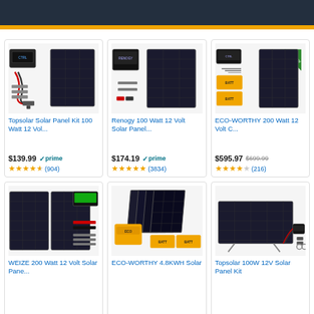Amazon solar panel kit search results
[Figure (photo): Topsolar Solar Panel Kit 100 Watt product image with solar panel, controller, and accessories]
Topsolar Solar Panel Kit 100 Watt 12 Vol...
$139.99 ✓prime ★★★★½ (904)
[Figure (photo): Renogy 100 Watt 12 Volt Solar Panel product image with solar panel and charge controller]
Renogy 100 Watt 12 Volt Solar Panel...
$174.19 ✓prime ★★★★★ (3834)
[Figure (photo): ECO-WORTHY 200 Watt 12 Volt C... product image with two solar panels and batteries]
ECO-WORTHY 200 Watt 12 Volt C...
$595.97 $699.99 ★★★★☆ (216)
[Figure (photo): WEIZE 200 Watt 12 Volt Solar panel kit with accessories]
WEIZE 200 Watt 12 Volt Solar Pane...
[Figure (photo): ECO-WORTHY 4.8KWH Solar kit with four panels and batteries]
ECO-WORTHY 4.8KWH Solar
[Figure (photo): Topsolar 100W 12V Solar Panel Kit product image]
Topsolar 100W 12V Solar Panel Kit